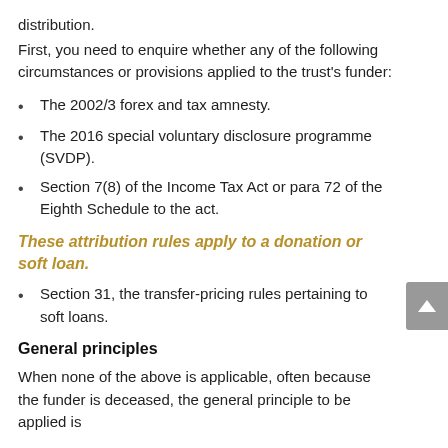distribution.
First, you need to enquire whether any of the following circumstances or provisions applied to the trust's funder:
The 2002/3 forex and tax amnesty.
The 2016 special voluntary disclosure programme (SVDP).
Section 7(8) of the Income Tax Act or para 72 of the Eighth Schedule to the act.
These attribution rules apply to a donation or soft loan.
Section 31, the transfer-pricing rules pertaining to soft loans.
General principles
When none of the above is applicable, often because the funder is deceased, the general principle to be applied is